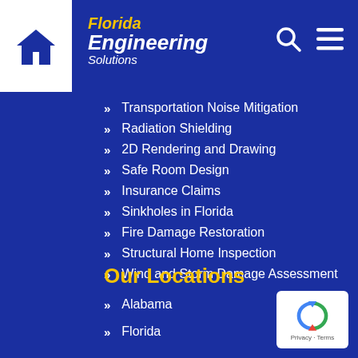[Figure (logo): Florida Engineering Solutions logo with home icon, search icon, and hamburger menu]
Transportation Noise Mitigation
Radiation Shielding
2D Rendering and Drawing
Safe Room Design
Insurance Claims
Sinkholes in Florida
Fire Damage Restoration
Structural Home Inspection
Wind and Storm Damage Assessment
Our Locations
Alabama
Florida